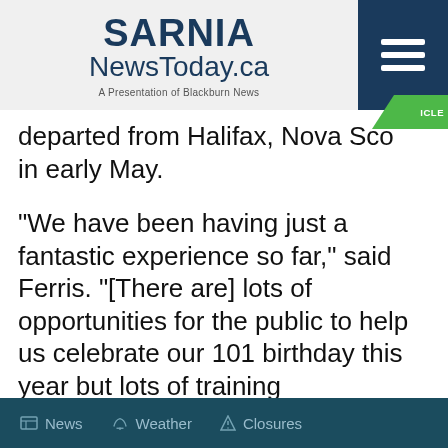[Figure (logo): SARNIA NewsToday.ca logo with tagline 'A Presentation of Blackburn News' and dark blue hamburger menu button]
departed from Halifax, Nova Scotia in early May.
“We have been having just a fantastic experience so far,” said Ferris. “[There are] lots of opportunities for the public to help us celebrate our 101 birthday this year but lots of training
News   Weather   Closures